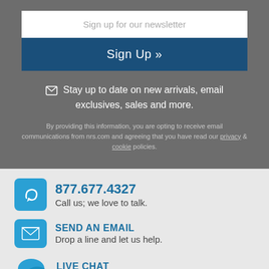Sign up for our newsletter
Sign Up »
Stay up to date on new arrivals, email exclusives, sales and more.
By providing this information, you are opting to receive email communications from nrs.com and agreeing that you have read our privacy & cookie policies.
877.677.4327 — Call us; we love to talk.
SEND AN EMAIL — Drop a line and let us help.
LIVE CHAT — Don't like to wait? Let's chat.